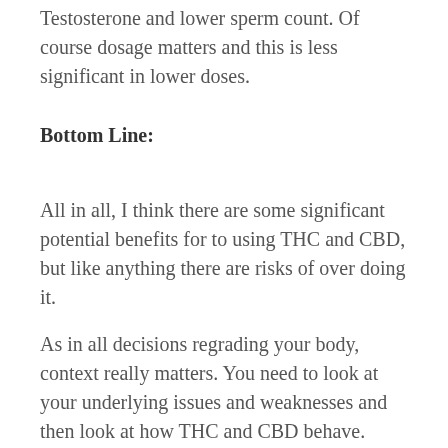Testosterone and lower sperm count. Of course dosage matters and this is less significant in lower doses.
Bottom Line:
All in all, I think there are some significant potential benefits for to using THC and CBD, but like anything there are risks of over doing it.
As in all decisions regrading your body, context really matters. You need to look at your underlying issues and weaknesses and then look at how THC and CBD behave.